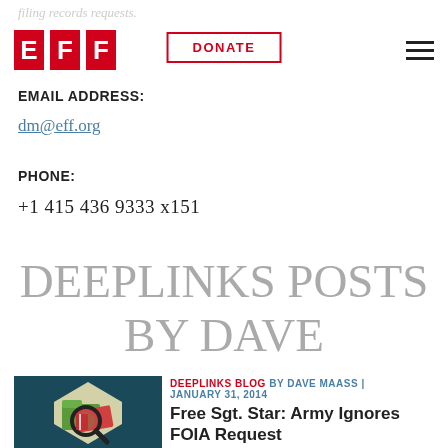filing records requests.
[Figure (logo): EFF logo in red blocks with letters E, F, F]
DONATE
EMAIL ADDRESS:
dm@eff.org
PHONE:
+1 415 436 9333 x151
DEEPLINKS POSTS BY DAVE
DEEPLINKS BLOG BY DAVE MAASS | JANUARY 31, 2014
Free Sgt. Star: Army Ignores FOIA Request